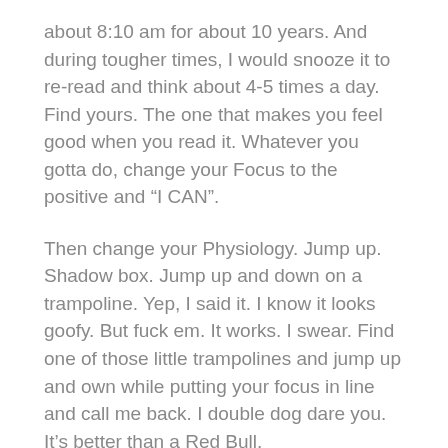about 8:10 am for about 10 years.  And during tougher times, I would snooze it to re-read and think about 4-5 times a day.   Find yours.  The one that makes you feel good when you read it.  Whatever you gotta do, change your Focus to the positive and “I CAN”.
Then change your Physiology.   Jump up.  Shadow box.   Jump up and down on a trampoline.   Yep, I said it.  I know it looks goofy.  But fuck em.  It works.  I swear.   Find one of those little trampolines and jump up and own while putting your focus in line and call me back.   I double dog dare you.   It’s better than a Red Bull.